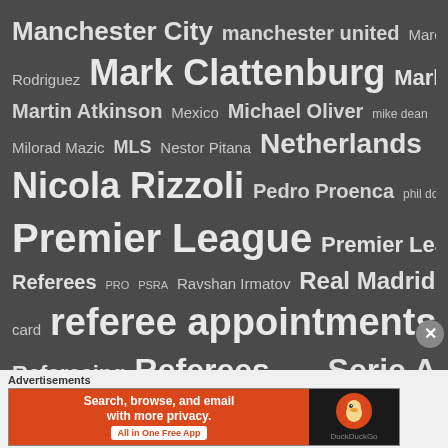[Figure (infographic): Word cloud on dark grey background featuring soccer/football referee and league related terms. Largest words: referee appointments, Premier League, soccer, Referees, Mark Clattenburg, Nicola Rizzoli, Netherlands, Serie A. Smaller terms include: Manchester City, manchester united, Marco Rodriguez, Mark Geiger, Martin Atkinson, Mexico, Michael Oliver, mike dean, Mike Jones, Milorad Mazic, MLS, Nestor Pitana, Pedro Proenca, phil dowd, Referees, PRO, PSRA, Ravshan Irmatov, Real Madrid, red card, Refereeing, Roma, Sevilla, Switzerland, tottenham, UEFA, Uruguay]
Advertisements
[Figure (screenshot): DuckDuckGo advertisement banner: orange left section with text 'Search, browse, and email with more privacy. All in One Free App', black right section with DuckDuckGo duck logo]